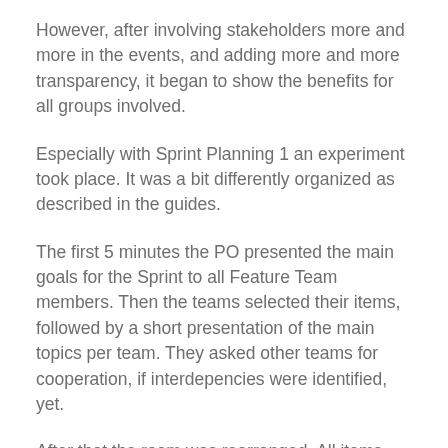However, after involving stakeholders more and more in the events, and adding more and more transparency, it began to show the benefits for all groups involved.
Especially with Sprint Planning 1 an experiment took place. It was a bit differently organized as described in the guides.
The first 5 minutes the PO presented the main goals for the Sprint to all Feature Team members. Then the teams selected their items, followed by a short presentation of the main topics per team. They asked other teams for cooperation, if interdepencies were identified, yet.
After that the room was rearranged. All items were grouped by domains. Clients and stakeholders of the